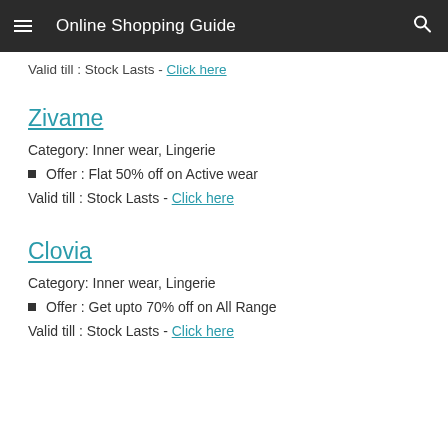Online Shopping Guide
Valid till : Stock Lasts - Click here
Zivame
Category: Inner wear, Lingerie
Offer : Flat 50% off on Active wear
Valid till : Stock Lasts - Click here
Clovia
Category: Inner wear, Lingerie
Offer : Get upto 70% off on All Range
Valid till : Stock Lasts - Click here